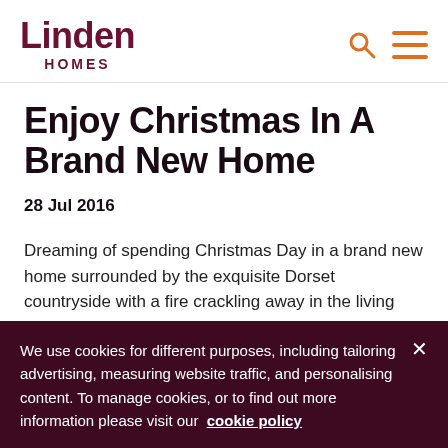[Figure (logo): Linden Homes logo with search and menu icons]
Enjoy Christmas In A Brand New Home
28 Jul 2016
Dreaming of spending Christmas Day in a brand new home surrounded by the exquisite Dorset countryside with a fire crackling away in the living room? It might be the height of
We use cookies for different purposes, including tailoring advertising, measuring website traffic, and personalising content. To manage cookies, or to find out more information please visit our  cookie policy